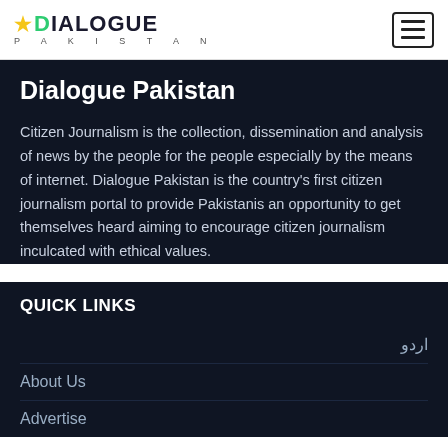Dialogue Pakistan — navigation bar with logo and menu button
Dialogue Pakistan
Citizen Journalism is the collection, dissemination and analysis of news by the people for the people especially by the means of internet. Dialogue Pakistan is the country's first citizen journalism portal to provide Pakistanis an opportunity to get themselves heard aiming to encourage citizen journalism inculcated with ethical values.
QUICK LINKS
اردو
About Us
Advertise